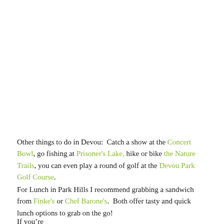Other things to do in Devou:  Catch a show at the Concert Bowl, go fishing at Prisoner's Lake, hike or bike the Nature Trails, you can even play a round of golf at the Devou Park Golf Course.
For Lunch in Park Hills I recommend grabbing a sandwich from Finke's or Chef Barone's.  Both offer tasty and quick lunch options to grab on the go!
If you're...